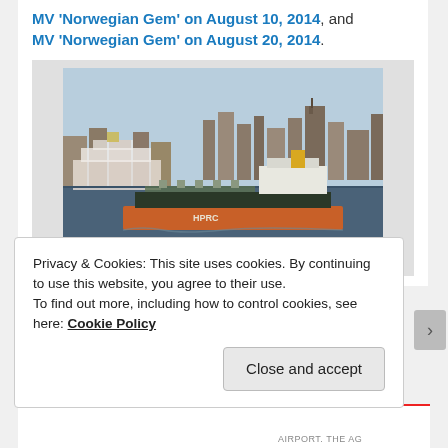MV 'Norwegian Gem' on August 10, 2014, and MV 'Norwegian Gem' on August 20, 2014.
[Figure (photo): A tanker ship with orange hull crossing a harbor with a city skyline in the background, on blue water. A cruise ship is visible in the background on the left.]
Privacy & Cookies: This site uses cookies. By continuing to use this website, you agree to their use. To find out more, including how to control cookies, see here: Cookie Policy